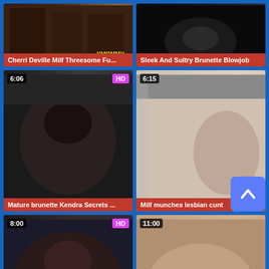[Figure (screenshot): Video thumbnail grid with 6 adult video thumbnails, titles, duration badges, and HD badges on a blue background]
Cherri Deville Milf Threesome Fu...
Sleek And Sultry Brunette Blowjob
Mature brunette Kendra Secrets ...
Milf munches lesbian cunt
75%
100%